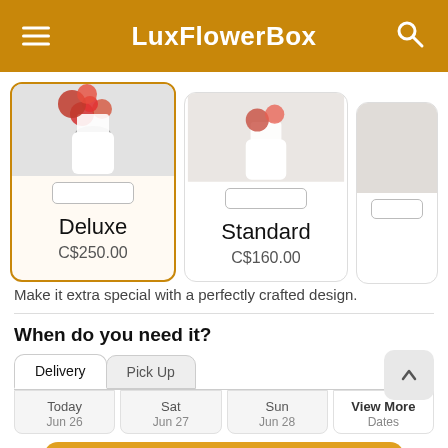LuxFlowerBox
[Figure (screenshot): Product card for Deluxe flower arrangement showing photo, name 'Deluxe', and price 'C$250.00' with golden border]
[Figure (screenshot): Product card for Standard flower arrangement showing photo, name 'Standard', and price 'C$160.00']
Make it extra special with a perfectly crafted design.
When do you need it?
Delivery	Pick Up
Today	Sat	Sun	View More Dates